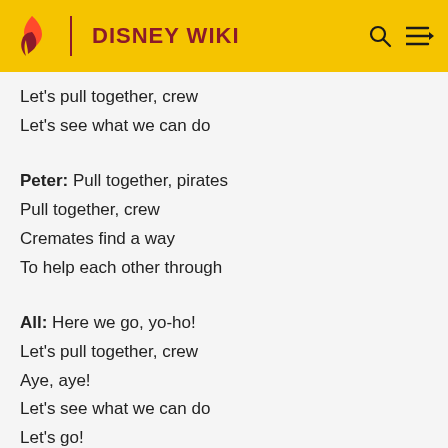DISNEY WIKI
Let's pull together, crew
Let's see what we can do
Peter: Pull together, pirates
Pull together, crew
Cremates find a way
To help each other through
All: Here we go, yo-ho!
Let's pull together, crew
Aye, aye!
Let's see what we can do
Let's go!
Here we go, yo-ho!